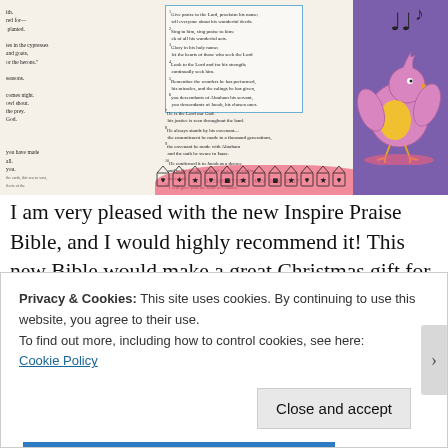[Figure (photo): Open Bible with journaling artwork. Left pages show printed scripture text. Middle pages show Psalm 105 scripture in a blue-bordered box with decorative bird illustration in pink/purple with yellow belly, musical notes, and a row of decorative house/lantern icons along the bottom with a pink splash. The right page shows a purple cover. A date stamp reads DOCUMENTING NOV 01 2017.]
I am very pleased with the new Inspire Praise Bible, and I would highly recommend it! This new Bible would make a great Christmas gift for both new and experienced bible journalers young and old. The release
Privacy & Cookies: This site uses cookies. By continuing to use this website, you agree to their use.
To find out more, including how to control cookies, see here:
Cookie Policy
Close and accept